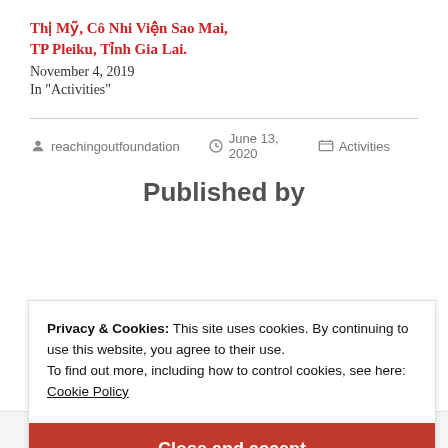Thị Mỹ, Cô Nhi Viện Sao Mai, TP Pleiku, Tỉnh Gia Lai.
November 4, 2019
In "Activities"
reachingoutfoundation   June 13, 2020   Activities
Published by
Privacy & Cookies: This site uses cookies. By continuing to use this website, you agree to their use.
To find out more, including how to control cookies, see here:
Cookie Policy
Close and accept